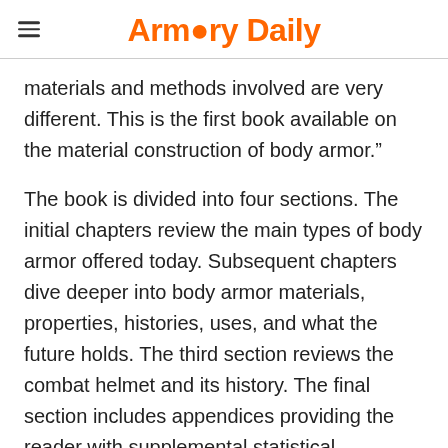Armory Daily
materials and methods involved are very different. This is the first book available on the material construction of body armor.”
The book is divided into four sections. The initial chapters review the main types of body armor offered today. Subsequent chapters dive deeper into body armor materials, properties, histories, uses, and what the future holds. The third section reviews the combat helmet and its history. The final section includes appendices providing the reader with supplemental statistical, technical,